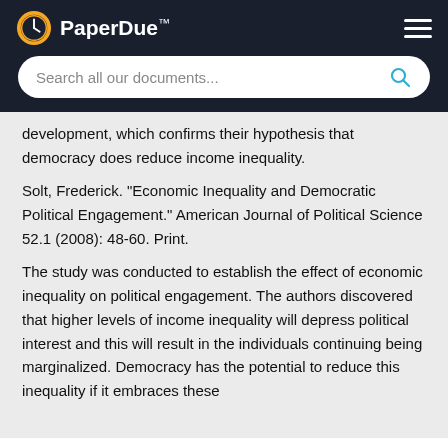PaperDue™
development, which confirms their hypothesis that democracy does reduce income inequality.
Solt, Frederick. "Economic Inequality and Democratic Political Engagement." American Journal of Political Science 52.1 (2008): 48-60. Print.
The study was conducted to establish the effect of economic inequality on political engagement. The authors discovered that higher levels of income inequality will depress political interest and this will result in the individuals continuing being marginalized. Democracy has the potential to reduce this inequality if it embraces these